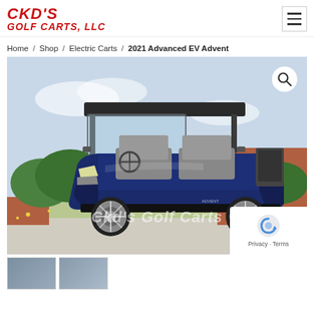[Figure (logo): CKD's Golf Carts, LLC logo in red italic bold text]
Home / Shop / Electric Carts / 2021 Advanced EV Advent
[Figure (photo): 2021 Advanced EV Advent golf cart in dark blue/navy color, parked outdoors with green background and brick wall. Cart has a black roof, chrome wheels, LED headlights. Watermark reads CKD's Golf Carts.]
[Figure (photo): Thumbnail strip showing additional views of the golf cart]